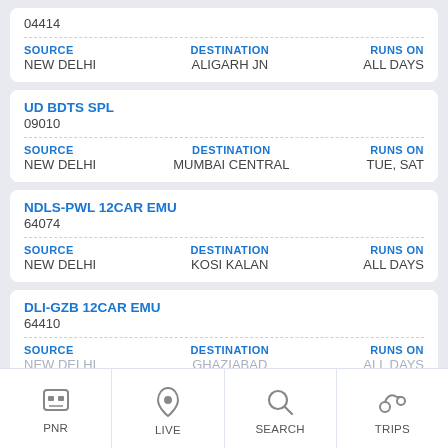04414
| SOURCE | DESTINATION | RUNS ON |
| --- | --- | --- |
| NEW DELHI | ALIGARH JN | ALL DAYS |
UD BDTS SPL
09010
| SOURCE | DESTINATION | RUNS ON |
| --- | --- | --- |
| NEW DELHI | MUMBAI CENTRAL | TUE, SAT |
NDLS-PWL 12CAR EMU
64074
| SOURCE | DESTINATION | RUNS ON |
| --- | --- | --- |
| NEW DELHI | KOSI KALAN | ALL DAYS |
DLI-GZB 12CAR EMU
64410
| SOURCE | DESTINATION | RUNS ON |
| --- | --- | --- |
| NEW DELHI | GHAZIABAD | ALL DAYS |
PNR | LIVE | SEARCH | TRIPS